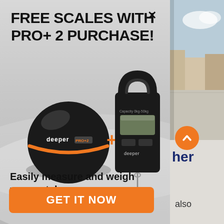FREE SCALES WITH PRO+ 2 PURCHASE!
[Figure (photo): Deeper PRO+ 2 sonar fish finder (black sphere with orange stripe and 'deeper PRO+2' text) plus black digital fishing scale with hook, connected by an orange plus sign]
Easily measure and weigh your catch.
GET IT NOW
[Figure (photo): Partial right-side view showing a waterfront scene with buildings; partial text 'her' and 'also' visible]